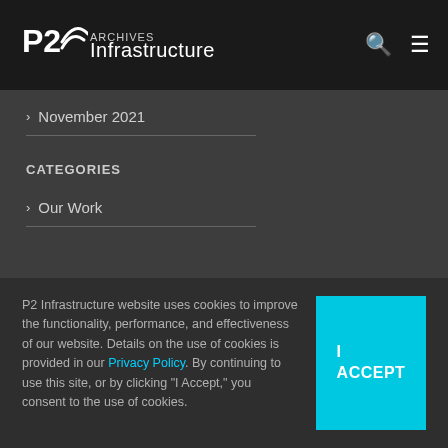P2 Infrastructure — ARCHIVES
November 2021
CATEGORIES
Our Work
P2 Infrastructure website uses cookies to improve the functionality, performance, and effectiveness of our website. Details on the use of cookies is provided in our Privacy Policy. By continuing to use this site, or by clicking "I Accept," you consent to the use of cookies.
I ACCEPT